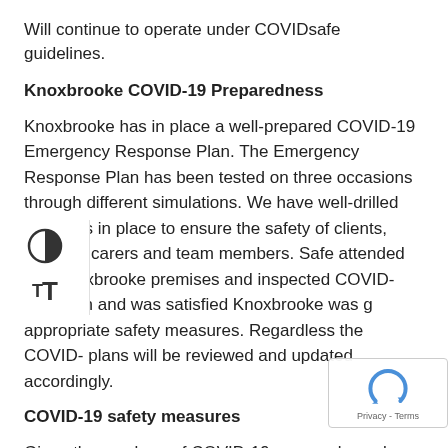Will continue to operate under COVIDsafe guidelines.
Knoxbrooke COVID-19 Preparedness
Knoxbrooke has in place a well-prepared COVID-19 Emergency Response Plan. The Emergency Response Plan has been tested on three occasions through different simulations. We have well-drilled protocols in place to ensure the safety of clients, families, carers and team members. …Safe attended two Knoxbrooke premises and inspected …COVID-safe plan and was satisfied Knoxbrooke was …g appropriate safety measures. Regardless the COVID-… plans will be reviewed and updated accordingly.
COVID-19 safety measures
Given the numbers of COVID-19 cases, please be sure to follow the DHHS advice below:
Stay at home and get tested if you have sympto… COVID-19, however mild.